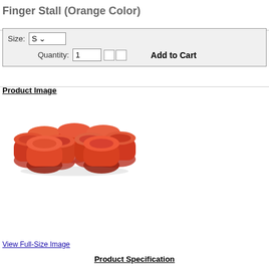Finger Stall (Orange Color)
Size: S  Quantity: 1  Add to Cart
Product Image
[Figure (photo): A pile of orange rubber finger stalls/cots]
View Full-Size Image
Product Specification